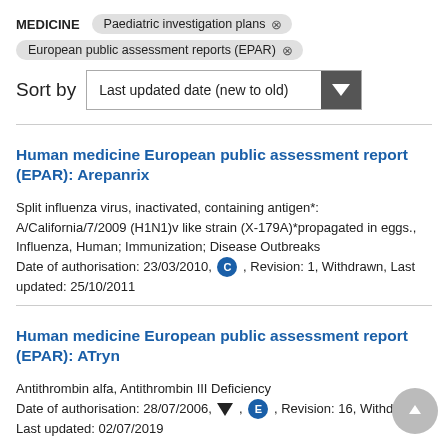MEDICINE   Paediatric investigation plans ×
European public assessment reports (EPAR) ×
Sort by   Last updated date (new to old)
Human medicine European public assessment report (EPAR): Arepanrix
Split influenza virus, inactivated, containing antigen*: A/California/7/2009 (H1N1)v like strain (X-179A)*propagated in eggs., Influenza, Human; Immunization; Disease Outbreaks
Date of authorisation: 23/03/2010, C , Revision: 1, Withdrawn, Last updated: 25/10/2011
Human medicine European public assessment report (EPAR): ATryn
Antithrombin alfa, Antithrombin III Deficiency
Date of authorisation: 28/07/2006, ▼ , E , Revision: 16, Withdrawn, Last updated: 02/07/2019